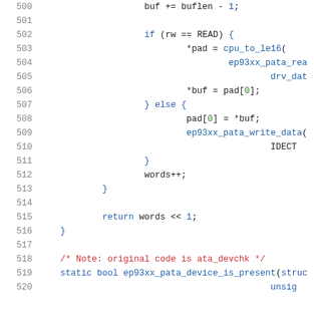Source code listing, lines 500-520, C kernel driver code for ep93xx PATA device.